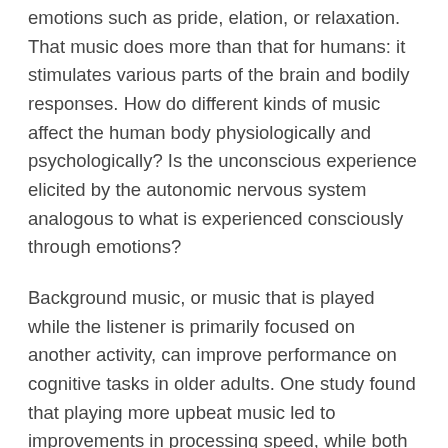emotions such as pride, elation, or relaxation. That music does more than that for humans: it stimulates various parts of the brain and bodily responses. How do different kinds of music affect the human body physiologically and psychologically? Is the unconscious experience elicited by the autonomic nervous system analogous to what is experienced consciously through emotions?
Background music, or music that is played while the listener is primarily focused on another activity, can improve performance on cognitive tasks in older adults. One study found that playing more upbeat music led to improvements in processing speed, while both upbeat and downbeat music led to benefits in memory.
So the next time you are working on a task, consider